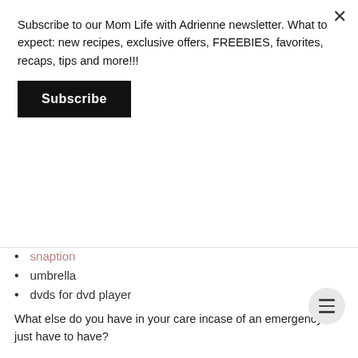Subscribe to our Mom Life with Adrienne newsletter. What to expect: new recipes, exclusive offers, FREEBIES, favorites, recaps, tips and more!!!
Subscribe
snaption
umbrella
dvds for dvd player
What else do you have in your care incase of an emergency or just have to have?
Thank you for stopping y!!!!! If you are new here,
Feel free to follow along.
You can find me on Bloglovin, Facebook, and Instagram.
New Youtube Channel and Etsy Shop
XOXO